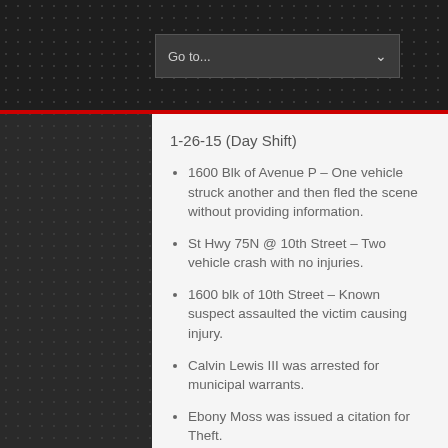Go to...
1-26-15 (Day Shift)
1600 Blk of Avenue P – One vehicle struck another and then fled the scene without providing information.
St Hwy 75N @ 10th Street – Two vehicle crash with no injuries.
1600 blk of 10th Street – Known suspect assaulted the victim causing injury.
Calvin Lewis III was arrested for municipal warrants.
Ebony Moss was issued a citation for Theft.